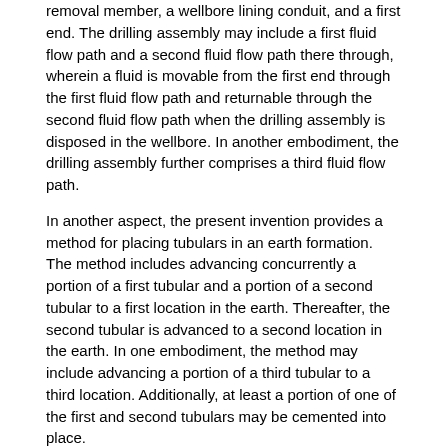removal member, a wellbore lining conduit, and a first end. The drilling assembly may include a first fluid flow path and a second fluid flow path there through, wherein a fluid is movable from the first end through the first fluid flow path and returnable through the second fluid flow path when the drilling assembly is disposed in the wellbore. In another embodiment, the drilling assembly further comprises a third fluid flow path.
In another aspect, the present invention provides a method for placing tubulars in an earth formation. The method includes advancing concurrently a portion of a first tubular and a portion of a second tubular to a first location in the earth. Thereafter, the second tubular is advanced to a second location in the earth. In one embodiment, the method may include advancing a portion of a third tubular to a third location. Additionally, at least a portion of one of the first and second tubulars may be cemented into place.
In another aspect, a method of drilling a wellbore with casing is provided. The method includes placing a string of casing with a drill bit at the lower end thereof into a previously formed wellbore and urging the string of casing axially downward to form a new section of wellbore. The method further includes pumping fluid through the string of casing into an annulus formed between the string of casing and the new section of wellbore. The method also includes diverting a portion of the fluid into an upper annulus in the previously formed wellbore.